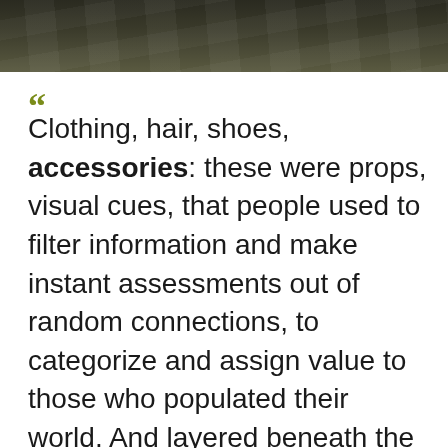[Figure (photo): Dark photograph visible at the top of the page, appears to show papers or documents with handwriting, rendered in dark olive/brown tones.]
“ Clothing, hair, shoes, accessories: these were props, visual cues, that people used to filter information and make instant assessments out of random connections, to categorize and assign value to those who populated their world. And layered beneath the props for sight came those for smell, and hearing, and more, that sense of intangibility that allowed people to read nuance and body language and interpret what the other senses didn't grasp directly; cues that together formed a picture that matched perceptions based on expectations and that, when adjusted one way or the other, filtered and sorted the world of